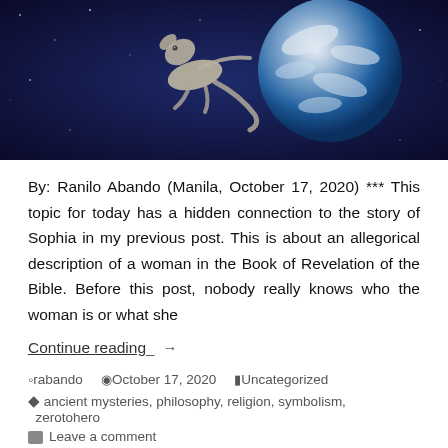[Figure (photo): Dark space background image with a creature (lizard-like animal) on the left and Earth globe on the right]
By: Ranilo Abando (Manila, October 17, 2020) *** This topic for today has a hidden connection to the story of Sophia in my previous post.  This is about an allegorical description of a woman in the Book of Revelation of the Bible.  Before this post, nobody really knows who the woman is or what she
Continue reading  →
rabando   October 17, 2020   Uncategorized
ancient mysteries, philosophy, religion, symbolism, zerotohero
Leave a comment